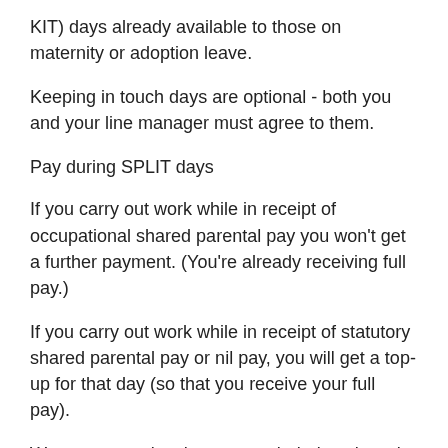KIT) days already available to those on maternity or adoption leave.
Keeping in touch days are optional - both you and your line manager must agree to them.
Pay during SPLIT days
If you carry out work while in receipt of occupational shared parental pay you won't get a further payment. (You're already receiving full pay.)
If you carry out work while in receipt of statutory shared parental pay or nil pay, you will get a top-up for that day (so that you receive your full pay).
We count any day that you work during shared parental leave as a whole SPLIT day, up to the 20-day maximum. For example, we will consider you to have used up a whole SPLIT day even if you only come to work for a one-hour training